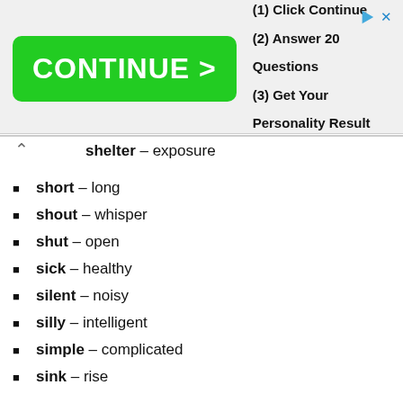[Figure (other): Advertisement banner with green CONTINUE > button and text: (1) Click Continue, (2) Answer 20 Questions, (3) Get Your Personality Result]
shelter – exposure
short – long
shout – whisper
shut – open
sick – healthy
silent – noisy
silly – intelligent
simple – complicated
sink – rise